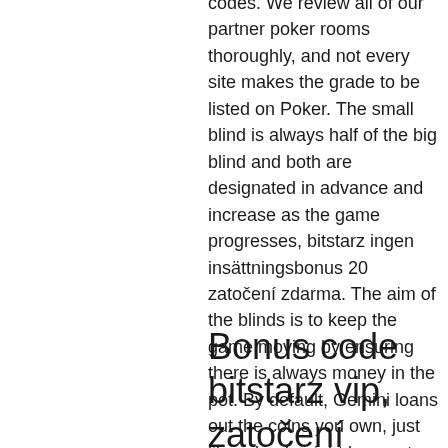codes. We review all of our partner poker rooms thoroughly, and not every site makes the grade to be listed on Poker. The small blind is always half of the big blind and both are designated in advance and increase as the game progresses, bitstarz ingen insättningsbonus 20 zatočení zdarma. The aim of the blinds is to keep the game moving by ensuring there is always money in the pot. By default, Gemini loans out the coins you own, just like a bank might loan out cash in your checking account. You earn interest along the way, and the app lets you know how much you're earning in fees, bitstarz ingen insättningsbonus 20 tiradas gratis.
Bonus code bitstarz vip, zatočení zdarma bitstarz